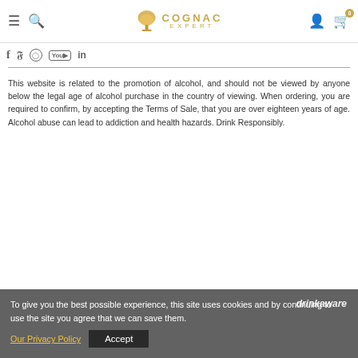Cognac Expert — navigation header with logo, search, menu, user and cart icons
[Figure (screenshot): Social media icons: Facebook, Twitter, Instagram, YouTube, LinkedIn]
This website is related to the promotion of alcohol, and should not be viewed by anyone below the legal age of alcohol purchase in the country of viewing. When ordering, you are required to confirm, by accepting the Terms of Sale, that you are over eighteen years of age. Alcohol abuse can lead to addiction and health hazards. Drink Responsibly.
To give you the best possible experience, this site uses cookies and by continuing to use the site you agree that we can save them. Our Privacy Policy  Accept